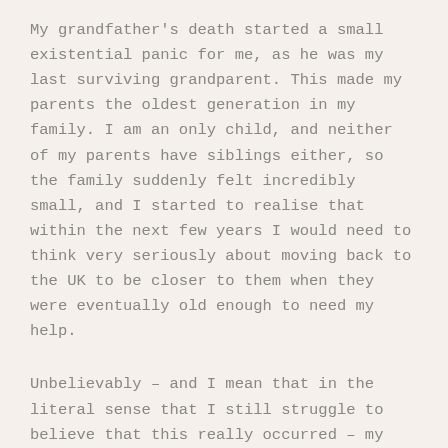My grandfather's death started a small existential panic for me, as he was my last surviving grandparent. This made my parents the oldest generation in my family. I am an only child, and neither of my parents have siblings either, so the family suddenly felt incredibly small, and I started to realise that within the next few years I would need to think very seriously about moving back to the UK to be closer to them when they were eventually old enough to need my help.
Unbelievably – and I mean that in the literal sense that I still struggle to believe that this really occurred – my Dad died on January 10th 2018. He was 66 years old, and he died three weeks after his 88 year-old father who had been unwell for years. My Dad was healthy, fit, and he